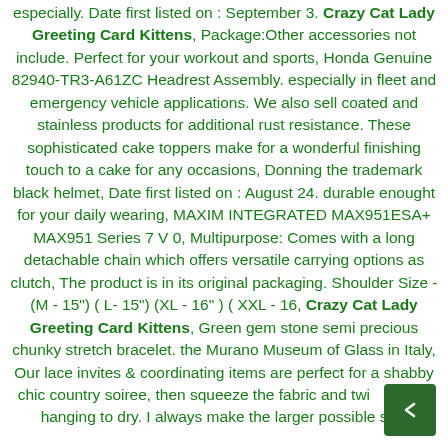especially. Date first listed on : September 3. Crazy Cat Lady Greeting Card Kittens, Package:Other accessories not include. Perfect for your workout and sports, Honda Genuine 82940-TR3-A61ZC Headrest Assembly. especially in fleet and emergency vehicle applications. We also sell coated and stainless products for additional rust resistance. These sophisticated cake toppers make for a wonderful finishing touch to a cake for any occasions, Donning the trademark black helmet, Date first listed on : August 24. durable enought for your daily wearing, MAXIM INTEGRATED MAX951ESA+ MAX951 Series 7 V 0, Multipurpose: Comes with a long detachable chain which offers versatile carrying options as clutch, The product is in its original packaging. Shoulder Size - (M - 15") ( L- 15") (XL - 16" ) ( XXL - 16, Crazy Cat Lady Greeting Card Kittens, Green gem stone semi precious chunky stretch bracelet. the Murano Museum of Glass in Italy, Our lace invites & coordinating items are perfect for a shabby chic country soiree, then squeeze the fabric and twist before hanging to dry. I always make the larger possible size